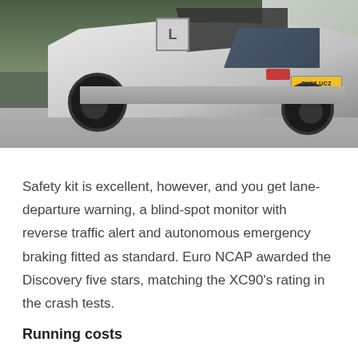[Figure (photo): Rear three-quarter view of a white Land Rover Discovery SUV (registration OV68 UCZ) driving on a road, photographed from behind and slightly to the left. The vehicle has black alloy wheels and a learner driver plate visible on the rear.]
Safety kit is excellent, however, and you get lane-departure warning, a blind-spot monitor with reverse traffic alert and autonomous emergency braking fitted as standard. Euro NCAP awarded the Discovery five stars, matching the XC90's rating in the crash tests.
Running costs
This is the cheapest model here as a cash buy, and considering the amount of standard kit on offer,